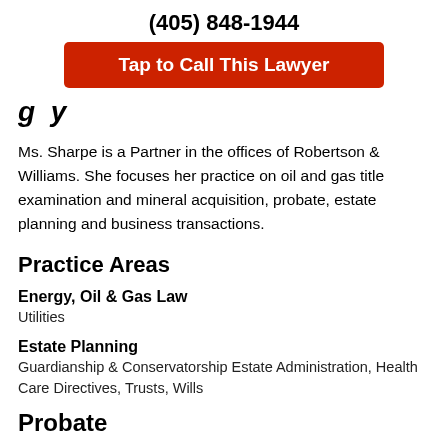(405) 848-1944
Tap to Call This Lawyer
Biography
Ms. Sharpe is a Partner in the offices of Robertson & Williams. She focuses her practice on oil and gas title examination and mineral acquisition, probate, estate planning and business transactions.
Practice Areas
Energy, Oil & Gas Law
Utilities
Estate Planning
Guardianship & Conservatorship Estate Administration, Health Care Directives, Trusts, Wills
Probate